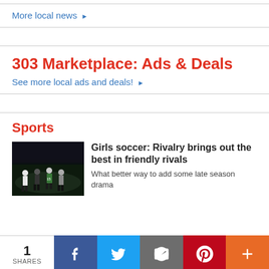More local news ▶
303 Marketplace: Ads & Deals
See more local ads and deals! ▶
Sports
[Figure (photo): Girls soccer players on a dark field at night]
Girls soccer: Rivalry brings out the best in friendly rivals
What better way to add some late season drama
1
SHARES
Facebook  Twitter  Email  Pinterest  More